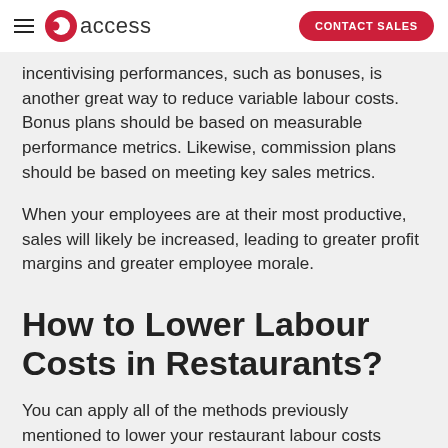access | CONTACT SALES
incentivising performances, such as bonuses, is another great way to reduce variable labour costs. Bonus plans should be based on measurable performance metrics. Likewise, commission plans should be based on meeting key sales metrics.
When your employees are at their most productive, sales will likely be increased, leading to greater profit margins and greater employee morale.
How to Lower Labour Costs in Restaurants?
You can apply all of the methods previously mentioned to lower your restaurant labour costs